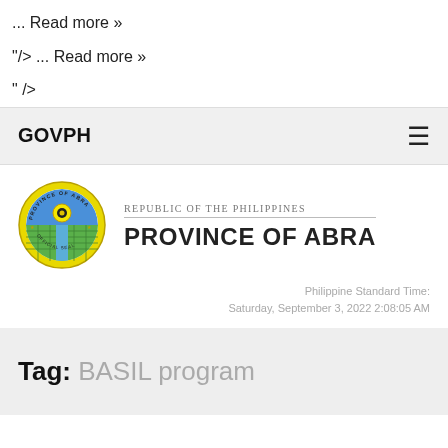... Read more »
"/> ... Read more »
" />
GOVPH
[Figure (logo): Official Seal of the Province of Abra — circular yellow seal with blue and green imagery and text 'PROVINCE OF ABRA OFFICIAL SEAL']
Republic of the Philippines Province of Abra
Philippine Standard Time: Saturday, September 3, 2022 2:08:05 AM
Tag: BASIL program